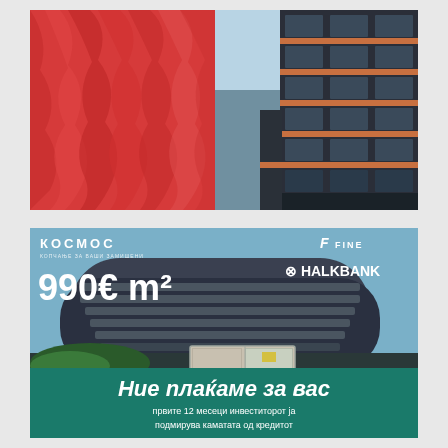[Figure (photo): Split image: left half shows red draped fabric/curtain, right half shows a modern dark building facade with glass windows and orange/wood accent panels, photographed from below against a blue sky]
[Figure (infographic): Real estate advertisement for Kosmos development. Shows large apartment building rendering with price 990€ m². Features Fine and Halkbank logos. Two interior room thumbnails. Dark teal bottom bar with white italic text 'Ние плаќаме за вас' (We pay for you) and subtext 'првите 12 месеци инвеститорот ја подмирува каматата од кредитот' (the first 12 months the investor covers the interest on the loan)]